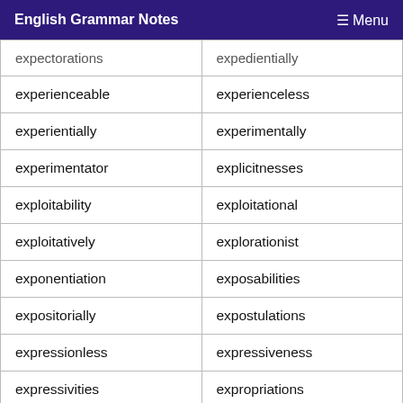English Grammar Notes  ☰ Menu
| expectorations | expedientially |
| experienceable | experienceless |
| experientially | experimentally |
| experimentator | explicitnesses |
| exploitability | exploitational |
| exploitatively | explorationist |
| exponentiation | exposabilities |
| expositorially | expostulations |
| expressionless | expressiveness |
| expressivities | expropriations |